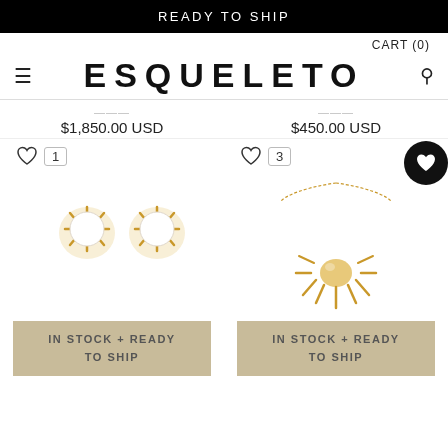READY TO SHIP
CART (0)
ESQUELETO
$1,850.00 USD
$450.00 USD
[Figure (photo): Pearl stud earrings in gold claw settings, shown as a pair]
[Figure (photo): Gold sunburst/spiky necklace with chain]
IN STOCK + READY TO SHIP
IN STOCK + READY TO SHIP